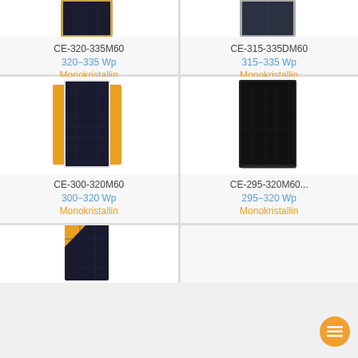[Figure (photo): Solar panel product CE-320-335M60, partially cropped at top]
CE-320-335M60
320−335 Wp
Monokristallin
[Figure (photo): Solar panel product CE-315-335DM60, partially cropped at top]
CE-315-335DM60
315−335 Wp
Monokristallin
[Figure (photo): Solar panel product CE-300-320M60 with orange frame accents]
CE-300-320M60
300−320 Wp
Monokristallin
[Figure (photo): All-black solar panel product CE-295-320M60]
CE-295-320M60...
295−320 Wp
Monokristallin
[Figure (photo): Solar panel product partially visible at bottom, with orange diagonal stripe]